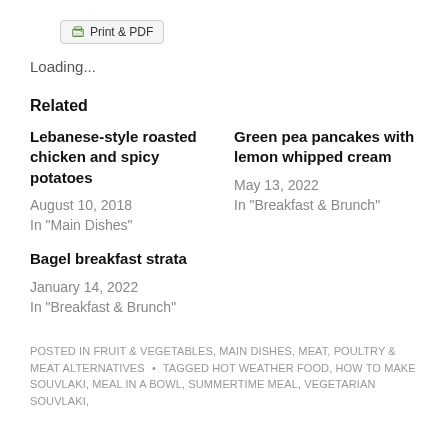Print & PDF
Loading...
Related
Lebanese-style roasted chicken and spicy potatoes
August 10, 2018
In "Main Dishes"
Green pea pancakes with lemon whipped cream
May 13, 2022
In "Breakfast & Brunch"
Bagel breakfast strata
January 14, 2022
In "Breakfast & Brunch"
POSTED IN FRUIT & VEGETABLES, MAIN DISHES, MEAT, POULTRY & MEAT ALTERNATIVES • TAGGED HOT WEATHER FOOD, HOW TO MAKE SOUVLAKI, MEAL IN A BOWL, SUMMERTIME MEAL, VEGETARIAN SOUVLAKI,